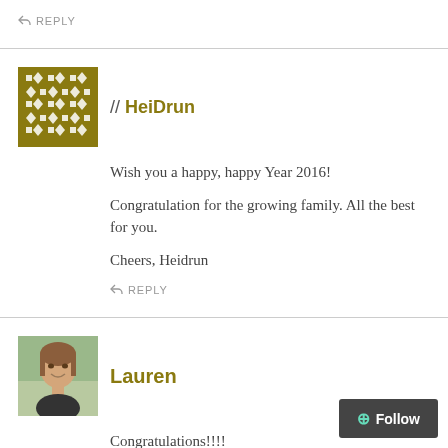↩ REPLY
// HeiDrun
Wish you a happy, happy Year 2016!

Congratulation for the growing family. All the best for you.

Cheers, Heidrun
↩ REPLY
Lauren
Congratulations!!!!
↩ REPLY